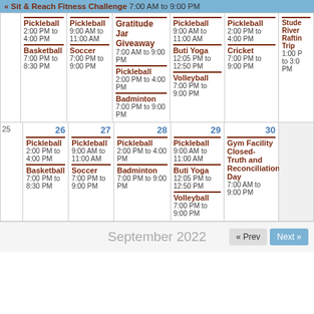« Sit & Reach Fitness Challenge 7:00 AM to 9:00 PM
| 25 | 26 | 27 | 28 | 29 | 30 |  |
| --- | --- | --- | --- | --- | --- | --- |
|  | Pickleball 2:00 PM to 4:00 PM / Basketball 7:00 PM to 8:30 PM | Pickleball 9:00 AM to 11:00 AM / Soccer 7:00 PM to 9:00 PM | Gratitude Jar Giveaway 7:00 AM to 9:00 PM / Pickleball 2:00 PM to 4:00 PM / Badminton 7:00 PM to 9:00 PM | Pickleball 9:00 AM to 11:00 AM / Buti Yoga 12:05 PM to 12:50 PM / Volleyball 7:00 PM to 9:00 PM | Pickleball 2:00 PM to 4:00 PM / Cricket 7:00 PM to 9:00 PM | Student River Rafting Trip 1:00 PM to 3:00 PM |
| 25 | Pickleball 2:00 PM to 4:00 PM / Basketball 7:00 PM to 8:30 PM | Pickleball 9:00 AM to 11:00 AM / Soccer 7:00 PM to 9:00 PM | Pickleball 2:00 PM to 4:00 PM / Badminton 7:00 PM to 9:00 PM | Pickleball 9:00 AM to 11:00 AM / Buti Yoga 12:05 PM to 12:50 PM / Volleyball 7:00 PM to 9:00 PM | Gym Facility Closed- Truth and Reconciliation Day 7:00 AM to 9:00 PM |  |
September 2022